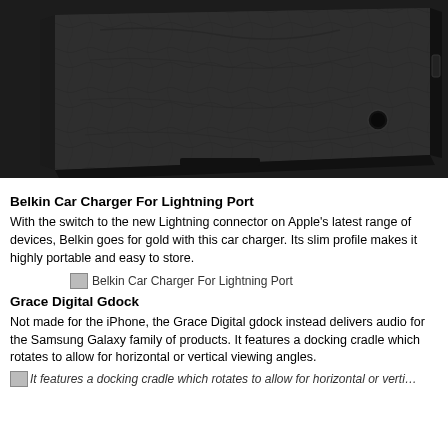[Figure (photo): Photo of a black leather iPad case/cover viewed from the back, showing textured surface, camera hole, and side spine, on a dark background]
Belkin Car Charger For Lightning Port
With the switch to the new Lightning connector on Apple's latest range of devices, Belkin goes for gold with this car charger. Its slim profile makes it highly portable and easy to store.
[Figure (photo): Broken image placeholder for Belkin Car Charger For Lightning Port]
Grace Digital Gdock
Not made for the iPhone, the Grace Digital gdock instead delivers audio for the Samsung Galaxy family of products. It features a docking cradle which rotates to allow for horizontal or vertical viewing angles.
[Figure (photo): Broken image placeholder - It features a docking cradle which rotates to allow for horizontal or vertical viewing angles.]